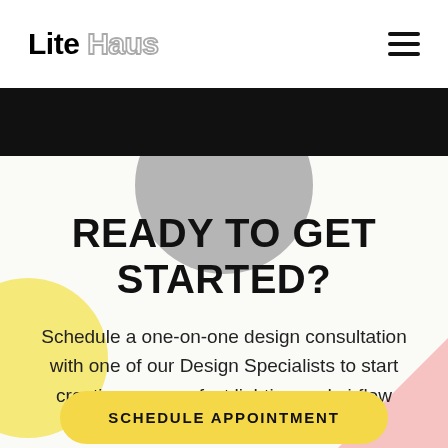Lite Haus
[Figure (illustration): Grey decorative circle partially overlapping a black bar at the top, yellow circle at bottom left, pink triangle at bottom right]
READY TO GET STARTED?
Schedule a one-on-one design consultation with one of our Design Specialists to start creating your perfect lighting and airflow package
SCHEDULE APPOINTMENT